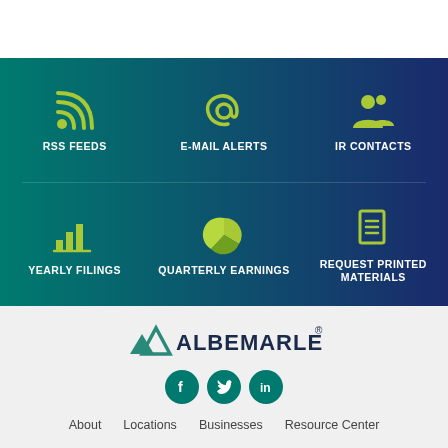[Figure (infographic): Gradient banner with six investor relations quick-link icons arranged in two rows of three: RSS Feeds, E-Mail Alerts, IR Contacts, Yearly Filings, Quarterly Earnings, Request Printed Materials]
[Figure (logo): Albemarle company logo with green mountain icon and wordmark ALBEMARLE with registered trademark symbol]
[Figure (infographic): Three social media icon circles: Facebook, Twitter, LinkedIn in teal/green color]
About   Locations   Businesses   Resource Center